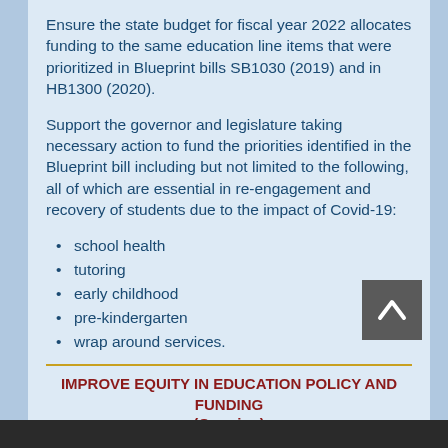Ensure the state budget for fiscal year 2022 allocates funding to the same education line items that were prioritized in Blueprint bills SB1030 (2019) and in HB1300 (2020).
Support the governor and legislature taking necessary action to fund the priorities identified in the Blueprint bill including but not limited to the following, all of which are essential in re-engagement and recovery of students due to the impact of Covid-19:
school health
tutoring
early childhood
pre-kindergarten
wrap around services.
IMPROVE EQUITY IN EDUCATION POLICY AND FUNDING (Ongoing)